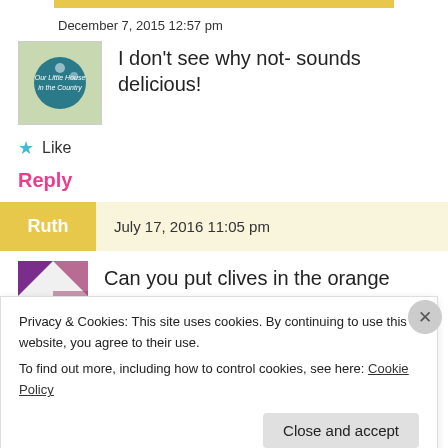December 7, 2015 12:57 pm
I don't see why not- sounds delicious!
★ Like
Reply
Ruth   July 17, 2016 11:05 pm
Can you put clives in the orange slices
Privacy & Cookies: This site uses cookies. By continuing to use this website, you agree to their use.
To find out more, including how to control cookies, see here: Cookie Policy
Close and accept